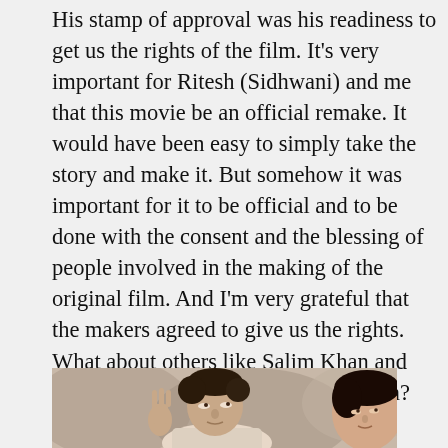His stamp of approval was his readiness to get us the rights of the film. It's very important for Ritesh (Sidhwani) and me that this movie be an official remake. It would have been easy to simply take the story and make it. But somehow it was important for it to be official and to be done with the consent and the blessing of people involved in the making of the original film. And I'm very grateful that the makers agreed to give us the rights. What about others like Salim Khan and Amitabh Bachchan? Did you ask them?
[Figure (photo): Photograph of two people — a man with dark hair looking upward with his hand raised, and a woman partially visible on the right side.]